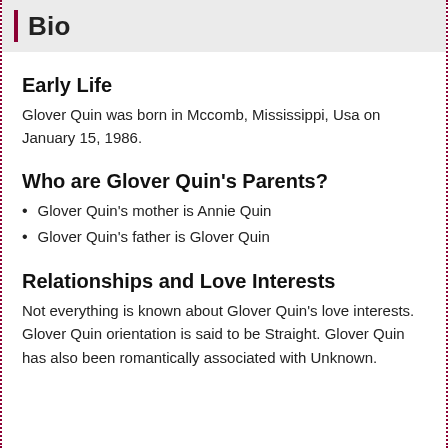Bio
Early Life
Glover Quin was born in Mccomb, Mississippi, Usa on January 15, 1986.
Who are Glover Quin's Parents?
Glover Quin's mother is Annie Quin
Glover Quin's father is Glover Quin
Relationships and Love Interests
Not everything is known about Glover Quin's love interests. Glover Quin orientation is said to be Straight. Glover Quin has also been romantically associated with Unknown.